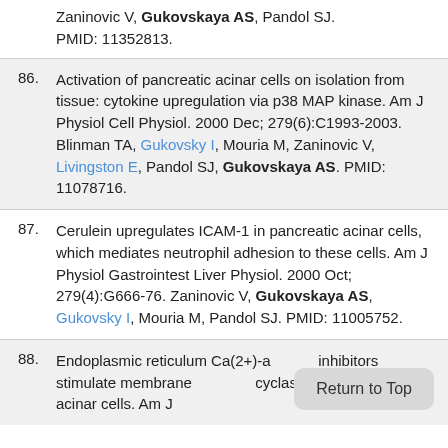Zaninovic V, Gukovskaya AS, Pandol SJ. PMID: 11352813.
86. Activation of pancreatic acinar cells on isolation from tissue: cytokine upregulation via p38 MAP kinase. Am J Physiol Cell Physiol. 2000 Dec; 279(6):C1993-2003. Blinman TA, Gukovsky I, Mouria M, Zaninovic V, Livingston E, Pandol SJ, Gukovskaya AS. PMID: 11078716.
87. Cerulein upregulates ICAM-1 in pancreatic acinar cells, which mediates neutrophil adhesion to these cells. Am J Physiol Gastrointest Liver Physiol. 2000 Oct; 279(4):G666-76. Zaninovic V, Gukovskaya AS, Gukovsky I, Mouria M, Pandol SJ. PMID: 11005752.
88. Endoplasmic reticulum Ca(2+)-ATPase inhibitors stimulate membrane guanylyl cyclase in pancreatic acinar cells. Am J